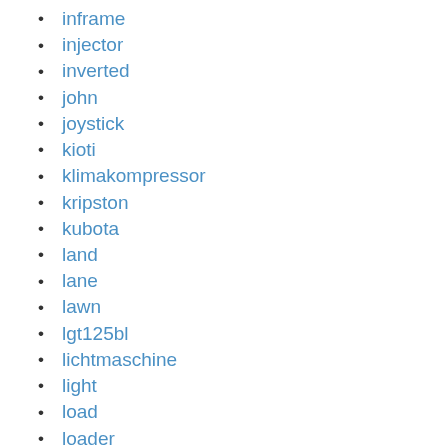inframe
injector
inverted
john
joystick
kioti
klimakompressor
kripston
kubota
land
lane
lawn
lgt125bl
lichtmaschine
light
load
loader
loading
long
lowe
machine
manual